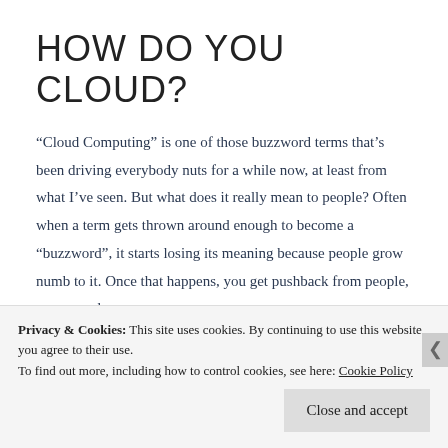HOW DO YOU CLOUD?
“Cloud Computing” is one of those buzzword terms that’s been driving everybody nuts for a while now, at least from what I’ve seen. But what does it really mean to people? Often when a term gets thrown around enough to become a “buzzword”, it starts losing its meaning because people grow numb to it. Once that happens, you get pushback from people, even people
Privacy & Cookies: This site uses cookies. By continuing to use this website, you agree to their use.
To find out more, including how to control cookies, see here: Cookie Policy
Close and accept